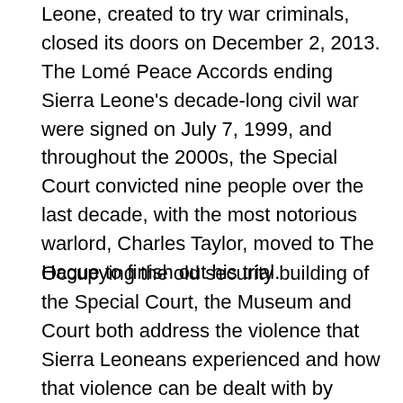Leone, created to try war criminals, closed its doors on December 2, 2013. The Lomé Peace Accords ending Sierra Leone's decade-long civil war were signed on July 7, 1999, and throughout the 2000s, the Special Court convicted nine people over the last decade, with the most notorious warlord, Charles Taylor, moved to The Hague to finish out his trial.
Occupying the old security building of the Special Court, the Museum and Court both address the violence that Sierra Leoneans experienced and how that violence can be dealt with by institutions and society. The Special Court of Sierra Leone attempted to strengthen the rule of law and promote post-conflict reconstruction, in addition